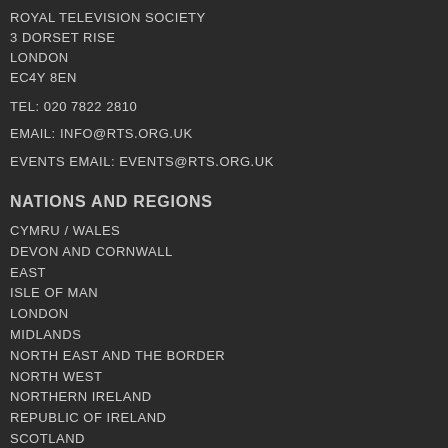ROYAL TELEVISION SOCIETY
3 DORSET RISE
LONDON
EC4Y 8EN
TEL: 020 7822 2810
EMAIL: INFO@RTS.ORG.UK
EVENTS EMAIL: EVENTS@RTS.ORG.UK
NATIONS AND REGIONS
CYMRU / WALES
DEVON AND CORNWALL
EAST
ISLE OF MAN
LONDON
MIDLANDS
NORTH EAST AND THE BORDER
NORTH WEST
NORTHERN IRELAND
REPUBLIC OF IRELAND
SCOTLAND
SOUTHERN
THAMES VALLEY